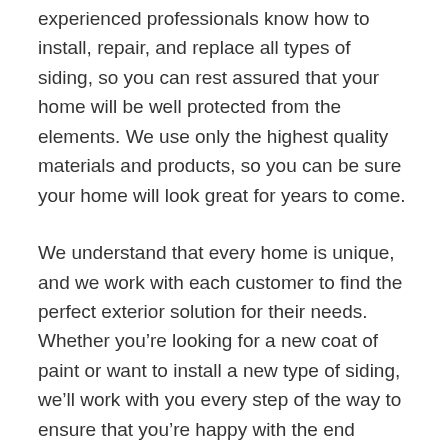experienced professionals know how to install, repair, and replace all types of siding, so you can rest assured that your home will be well protected from the elements. We use only the highest quality materials and products, so you can be sure your home will look great for years to come.
We understand that every home is unique, and we work with each customer to find the perfect exterior solution for their needs. Whether you’re looking for a new coat of paint or want to install a new type of siding, we’ll work with you every step of the way to ensure that you’re happy with the end result.
If you’re looking for quality residential siding services, call us today!